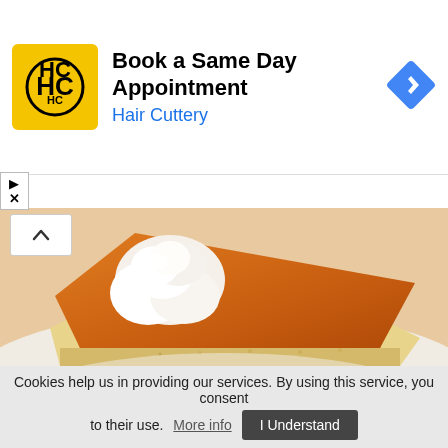[Figure (screenshot): Hair Cuttery advertisement banner. Yellow square logo with HC letters, bold text 'Book a Same Day Appointment', blue subtitle 'Hair Cuttery', and a blue diamond navigation arrow on the right.]
[Figure (photo): Close-up photo of a slice of pumpkin pie with whipped cream on top, showing orange filling and pale graham cracker crust on a white plate.]
Cookies help us in providing our services. By using this service, you consent to their use. More info
I Understand